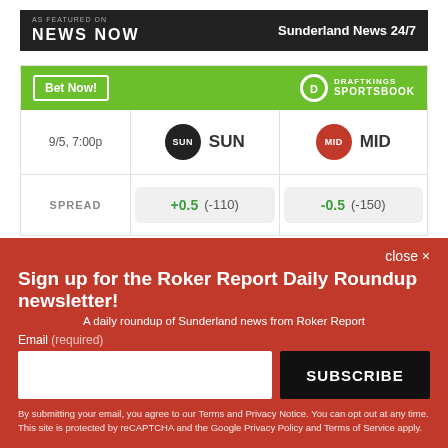[Figure (logo): News Now banner with 'AS FEATURED ON NEWS NOW' on left and 'Sunderland News 24/7' on right]
[Figure (infographic): DraftKings Sportsbook betting widget showing SUN vs MID on 9/5 7:00p with spread +0.5 (-110) vs -0.5 (-150)]
close ×
Sign up for the Roker Report Daily Roundup newsletter!
A daily roundup of Sunderland news from Roker Report
Email (required)
SUBSCRIBE
By submitting your email, you agree to our Terms and Privacy Notice. You can opt out at any time. This site is protected by reCAPTCHA and the Google Privacy Policy and Terms of Service apply.